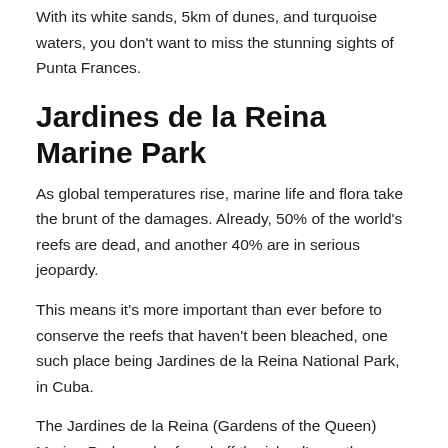With its white sands, 5km of dunes, and turquoise waters, you don't want to miss the stunning sights of Punta Frances.
Jardines de la Reina Marine Park
As global temperatures rise, marine life and flora take the brunt of the damages. Already, 50% of the world's reefs are dead, and another 40% are in serious jeopardy.
This means it's more important than ever before to conserve the reefs that haven't been bleached, one such place being Jardines de la Reina National Park, in Cuba.
The Jardines de la Reina (Gardens of the Queen) Marine Park can be found off the island's southern coast and is perhaps Cuba's greatest underwater treasure. This area is government-protected, so no commercial fishing is allowed, and as a result, the marine life here is abundant.